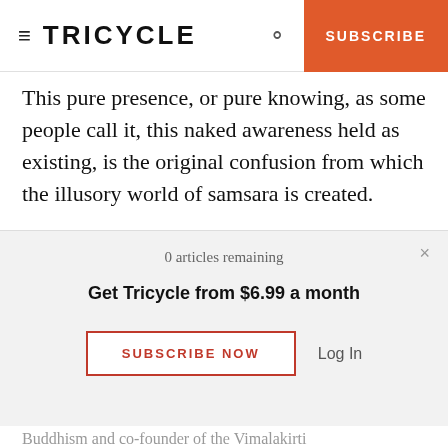TRICYCLE | SUBSCRIBE
This pure presence, or pure knowing, as some people call it, this naked awareness held as existing, is the original confusion from which the illusory world of samsara is created.
♦
From Beyond Tranquility: Buddhist Meditations in Essay and Verse by Charles Genoud. Reprinted with
0 articles remaining
Get Tricycle from $6.99 a month
SUBSCRIBE NOW
Log In
Buddhism and co-founder of the Vimalakirti